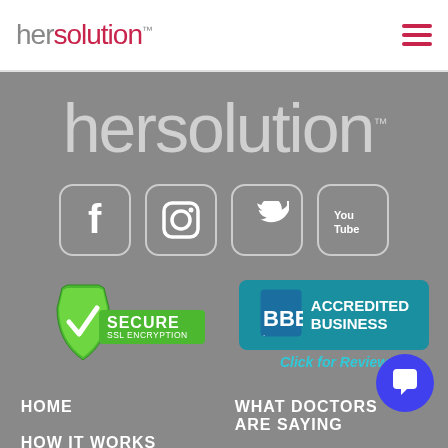hersolution™
[Figure (logo): HerSolution large light gray logo text on gray background with TM mark]
[Figure (infographic): Social media icons: Facebook, Instagram, Twitter, YouTube — white rounded-square icon buttons]
[Figure (infographic): Secure SSL Encryption green shield badge and BBB Accredited Business teal badge with Click for Review text]
HOME
WHAT DOCTORS ARE SAYING
HOW IT WORKS
ORDER NOW!